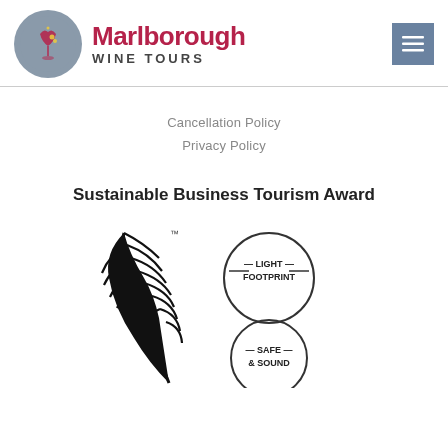[Figure (logo): Marlborough Wine Tours logo: circular grey emblem with wine/leaf motif, followed by 'Marlborough' in bold red and 'WINE TOURS' in grey caps]
[Figure (other): Menu/hamburger button icon (three horizontal lines) on a steel-blue square background]
Cancellation Policy
Privacy Policy
Sustainable Business Tourism Award
[Figure (illustration): Silver fern (New Zealand fern leaf) logo with trademark symbol, plus circular 'Light Footprint' and 'Safe & Sound' certification badge icons]